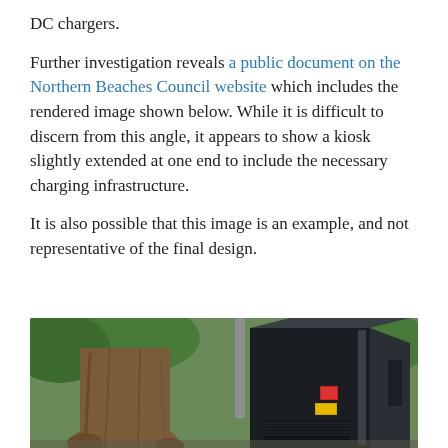DC chargers.
Further investigation reveals a public document on the Northern Beaches Council website which includes the rendered image shown below. While it is difficult to discern from this angle, it appears to show a kiosk slightly extended at one end to include the necessary charging infrastructure.
It is also possible that this image is an example, and not representative of the final design.
[Figure (photo): Outdoor photo showing a large tree trunk on the left side and a dark/black rectangular kiosk or charging infrastructure unit on the right side, with green trees and a building visible in the background.]